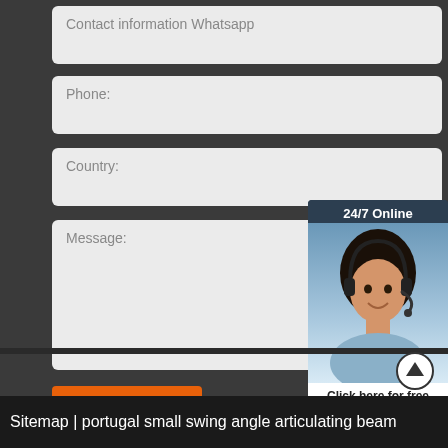Contact information Whatsapp
Phone:
Country:
Message:
[Figure (screenshot): 24/7 Online chat widget with photo of a woman wearing a headset. Contains text 'Click here for free chat!' and a QUOTATION button.]
Submit Now
Sitemap | portugal small swing angle articulating beam